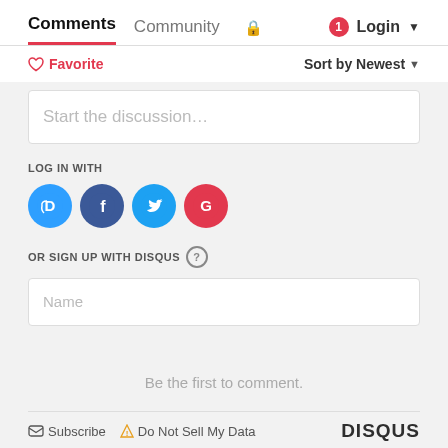Comments  Community  🔒  1  Login
♡ Favorite   Sort by Newest
Start the discussion…
LOG IN WITH
[Figure (other): Social login icons: Disqus (blue), Facebook (dark blue), Twitter (light blue), Google (red)]
OR SIGN UP WITH DISQUS ?
Name
Be the first to comment.
✉ Subscribe  ⚠ Do Not Sell My Data   DISQUS